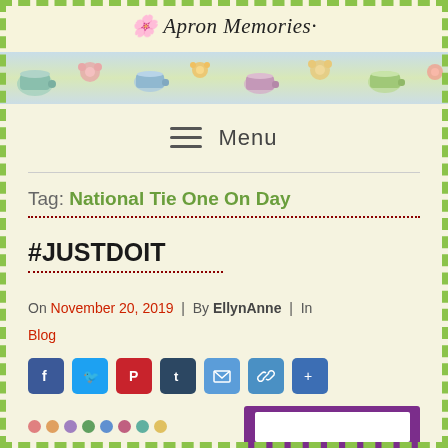Apron Memories
[Figure (illustration): Decorative floral banner strip with teacups, flowers, and colorful patterns]
Menu
Tag: National Tie One On Day
#JUSTDOIT
On November 20, 2019  |  By EllynAnne  |  In Blog
[Figure (infographic): Social media sharing icons: Facebook, Twitter, Pinterest, Tumblr, Email, Link, Share]
[Figure (illustration): Bottom preview area with colored decorative dots on left and purple framed white box on right]